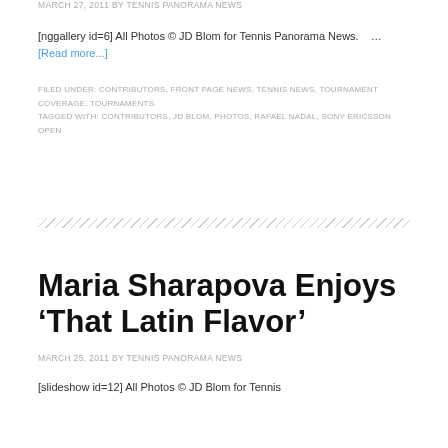MARCH 27, 2011 BY TENNIS PANORAMA NEWS
[nggallery id=6] All Photos © JD Blom for Tennis Panorama News.    … [Read more...]
FILED UNDER: CONTRIBUTORS, FRONT PAGE NEWS, TENNIS NEWS, TOURNAMENT COVERAGE, TOURNAMENTS TAGGED WITH: CONTRIBUTORS, JD BLOM, PHOTOS, RAFAEL NADAL, SONY ERICSSON OPEN
Maria Sharapova Enjoys 'That Latin Flavor'
MARCH 25, 2011 BY TENNIS PANORAMA NEWS
[slideshow id=12] All Photos © JD Blom for Tennis